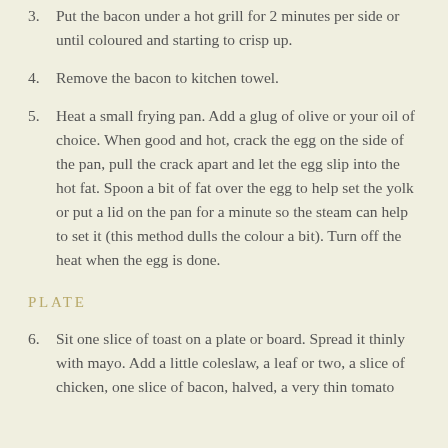3. Put the bacon under a hot grill for 2 minutes per side or until coloured and starting to crisp up.
4. Remove the bacon to kitchen towel.
5. Heat a small frying pan. Add a glug of olive or your oil of choice. When good and hot, crack the egg on the side of the pan, pull the crack apart and let the egg slip into the hot fat. Spoon a bit of fat over the egg to help set the yolk or put a lid on the pan for a minute so the steam can help to set it (this method dulls the colour a bit). Turn off the heat when the egg is done.
PLATE
6. Sit one slice of toast on a plate or board. Spread it thinly with mayo. Add a little coleslaw, a leaf or two, a slice of chicken, one slice of bacon, halved, a very thin tomato slice...